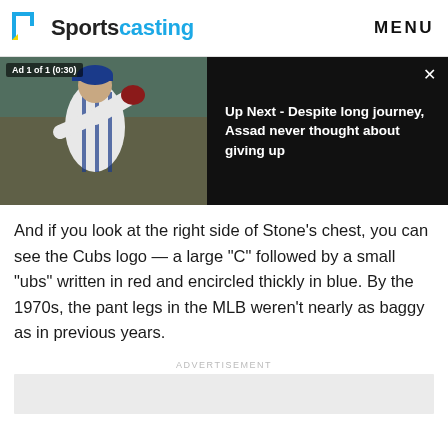Sportscasting   MENU
[Figure (screenshot): Video ad player showing a baseball player (Cubs pitcher) on the left and 'Up Next - Despite long journey, Assad never thought about giving up' text on dark background on the right. Ad 1 of 1 (0:30) label visible.]
And if you look at the right side of Stone's chest, you can see the Cubs logo — a large "C" followed by a small "ubs" written in red and encircled thickly in blue. By the 1970s, the pant legs in the MLB weren't nearly as baggy as in previous years.
ADVERTISEMENT